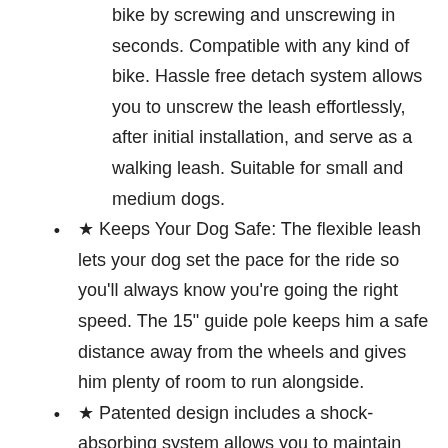bike by screwing and unscrewing in seconds. Compatible with any kind of bike. Hassle free detach system allows you to unscrew the leash effortlessly, after initial installation, and serve as a walking leash. Suitable for small and medium dogs.
★ Keeps Your Dog Safe: The flexible leash lets your dog set the pace for the ride so you'll always know you're going the right speed. The 15" guide pole keeps him a safe distance away from the wheels and gives him plenty of room to run alongside.
★ Patented design includes a shock-absorbing system allows you to maintain control while riding without the effects of your best friends sudden jerking movements.
★ Protective Safe system: A fixed seat lock and mainly built from industrial strength stainless steel pipe and durable folding type buffer rope which can provides a safe ride for you and your dog. Rubber insert gives protection from bruising and scratching of your bike.
★ Take your dog to join the Jogging, bicycling or the classical